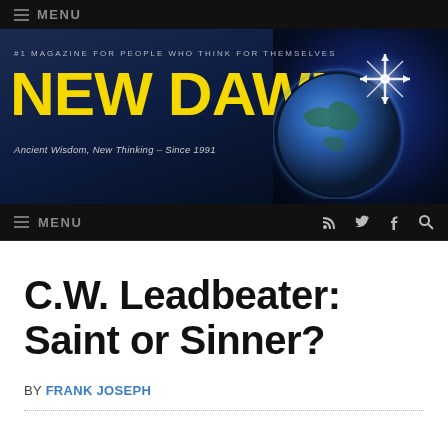≡ MENU
[Figure (logo): New Dawn magazine banner with yellow logo text, tagline '#1 MAGAZINE FOR PEOPLE WHO THINK FOR THEMSELVES', subtitle 'Ancient Wisdom, New Thinking – Since 1991', and a glowing star/globe graphic on dark background]
≡ MENU
C.W. Leadbeater: Saint or Sinner?
BY FRANK JOSEPH